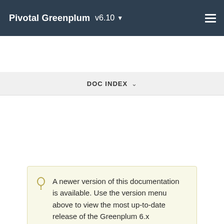Pivotal Greenplum v6.10
DOC INDEX
A newer version of this documentation is available. Use the version menu above to view the most up-to-date release of the Greenplum 6.x documentation.
Updating Statistics with ANALYZE